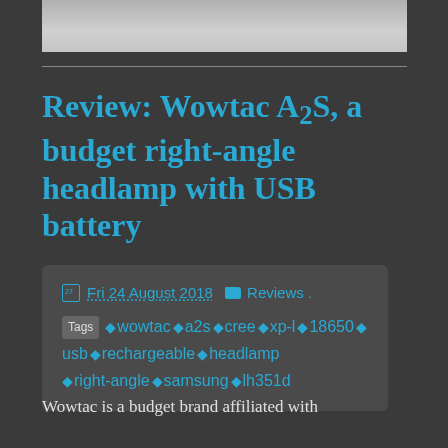[Figure (photo): Top portion of a photo, appears to be a grey textured surface or object]
Review: Wowtac A2S, a budget right-angle headlamp with USB battery
📅Fri 24 August 2018 📁Reviews.
Tags ♦wowtac ♦a2s ♦cree ♦xp-l ♦18650 ♦usb ♦rechargeable ♦headlamp ♦right-angle ♦samsung ♦lh351d
Wowtac is a budget brand affiliated with